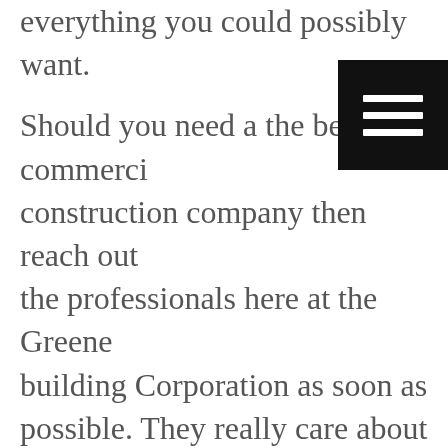everything you could possibly want.
Should you need a the best commercial construction company then reach out the professionals here at the Greene building Corporation as soon as possible. They really care about making sure their projects are 100% catered towards you. They are hands down the top Shelby Commercial Contractor for reason because they are fully dedicated to providing you with the highest level of services in town today. Reach out now and see what they can do for you are ready to provide you the top level